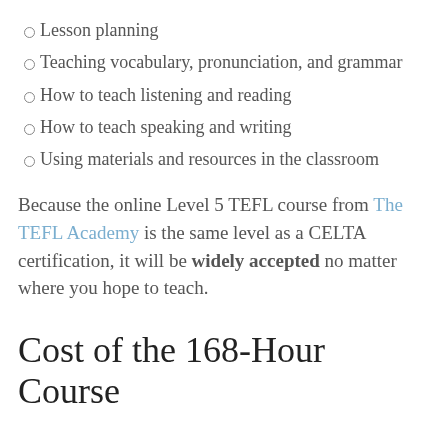Lesson planning
Teaching vocabulary, pronunciation, and grammar
How to teach listening and reading
How to teach speaking and writing
Using materials and resources in the classroom
Because the online Level 5 TEFL course from The TEFL Academy is the same level as a CELTA certification, it will be widely accepted no matter where you hope to teach.
Cost of the 168-Hour Course